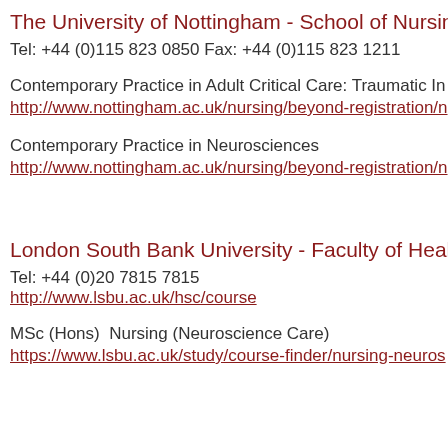The University of Nottingham - School of Nursing &
Tel: +44 (0)115 823 0850 Fax: +44 (0)115 823 1211
Contemporary Practice in Adult Critical Care: Traumatic In
http://www.nottingham.ac.uk/nursing/beyond-registration/n
Contemporary Practice in Neurosciences
http://www.nottingham.ac.uk/nursing/beyond-registration/n
London South Bank University - Faculty of Health a
Tel: +44 (0)20 7815 7815  http://www.lsbu.ac.uk/hsc/course
MSc (Hons)  Nursing (Neuroscience Care)
https://www.lsbu.ac.uk/study/course-finder/nursing-neuros